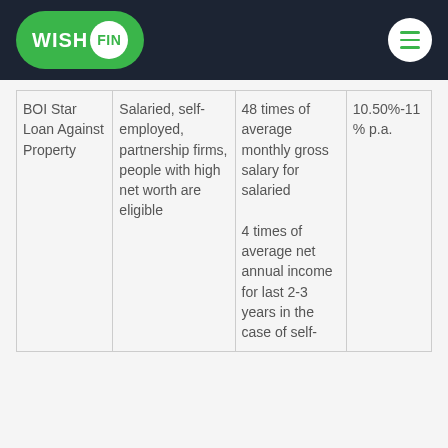WISH FIN
| BOI Star Loan Against Property | Salaried, self-employed, partnership firms, people with high net worth are eligible | 48 times of average monthly gross salary for salaried

4 times of average net annual income for last 2-3 years in the case of self- | 10.50%-11% p.a. |